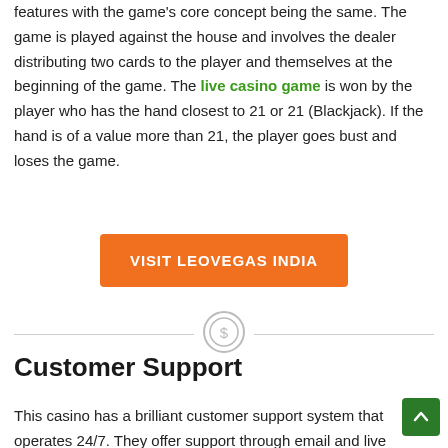features with the game's core concept being the same. The game is played against the house and involves the dealer distributing two cards to the player and themselves at the beginning of the game. The live casino game is won by the player who has the hand closest to 21 or 21 (Blackjack). If the hand is of a value more than 21, the player goes bust and loses the game.
[Figure (other): Orange button labeled VISIT LEOVEGAS INDIA]
[Figure (other): Horizontal divider with a coin/dollar icon in the center]
Customer Support
This casino has a brilliant customer support system that operates 24/7. They offer support through email and live chat that are attended to by a courteous and a team of friendly agents. To top it